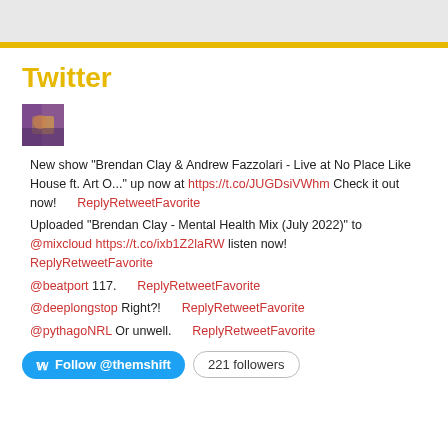Twitter
[Figure (photo): Small profile photo thumbnail showing a person at a concert/event]
New show "Brendan Clay & Andrew Fazzolari - Live at No Place Like House ft. Art O..." up now at https://t.co/JUGDsiVWhm Check it out now!   ReplyRetweetFavorite
Uploaded "Brendan Clay - Mental Health Mix (July 2022)" to @mixcloud https://t.co/ixb1Z2laRW listen now!   ReplyRetweetFavorite
@beatport 117.   ReplyRetweetFavorite
@deeplongstop Right?!   ReplyRetweetFavorite
@pythagoNRL Or unwell.   ReplyRetweetFavorite
Follow @themshift   221 followers